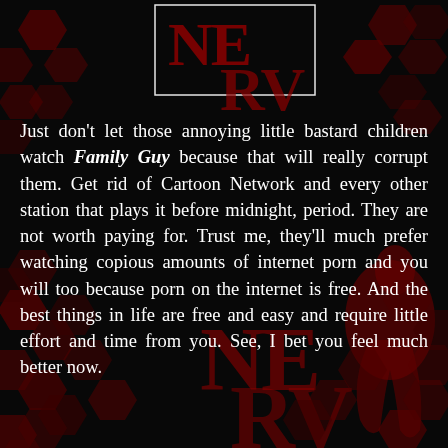[Figure (illustration): Dark background with red hexagonal honeycomb pattern and NERV logo (NE/RV letters in dark red) visible in upper portion and lower portion of page. Red silhouette figure visible at lower right.]
Just don't let those annoying little bastard children watch Family Guy because that will really corrupt them. Get rid of Cartoon Network and every other station that plays it before midnight, period. They are not worth paying for. Trust me, they'll much prefer watching copious amounts of internet porn and you will too because porn on the internet is free. And the best things in life are free and easy and require little effort and time from you. See, I bet you feel much better now.